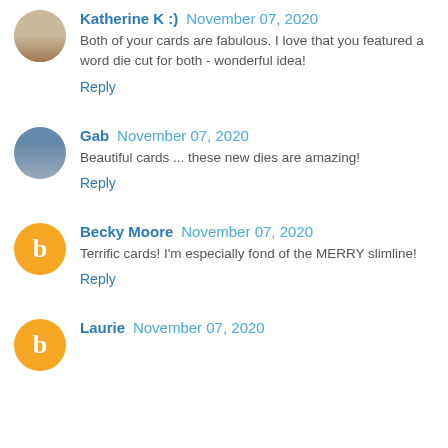Katherine K :) November 07, 2020 — Both of your cards are fabulous. I love that you featured a word die cut for both - wonderful idea! Reply
Gab November 07, 2020 — Beautiful cards ... these new dies are amazing! Reply
Becky Moore November 07, 2020 — Terrific cards! I'm especially fond of the MERRY slimline! Reply
Laurie November 07, 2020